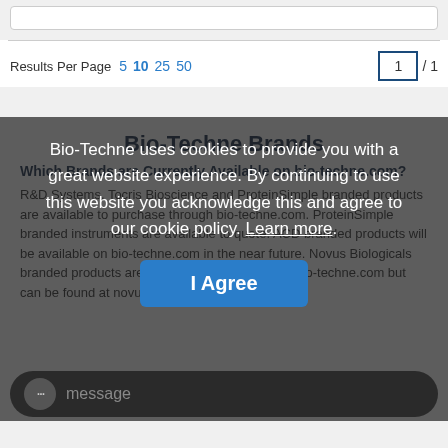Results Per Page 5 10 25 50   1 / 1
Bio-Techne Brands
Which Brands are Currently Available on bio-techne.com?
R&D Systems, Tocris Bioscience and ProteinSimple branded products are available to purchase through bio-techne.com. ProteinSimple branded instruments are available to quote. ACD branded products will be available on bio-techne.com in the near future. Novus Biologicals branded products are not currently available on bio-techne.com but can be found at novusbio.com.
Bio-Techne uses cookies to provide you with a great website experience. By continuing to use this website you acknowledge this and agree to our cookie policy. Learn more.
I Agree